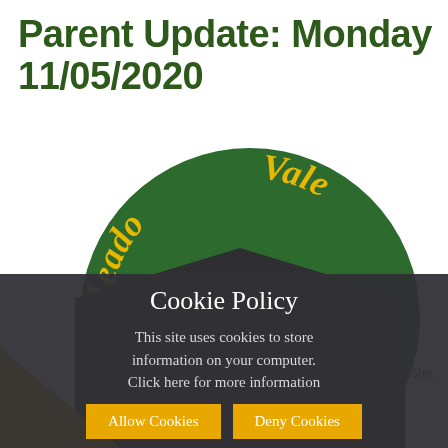Parent Update: Monday 11/05/2020
[Figure (logo): Meadow Vale School circular logo — green circle with yellow cursive text reading 'Meadow Vale' and a leaf/school illustration in the center]
[Figure (screenshot): Cookie Policy modal overlay on a dark semi-transparent background with title 'Cookie Policy', body text 'This site uses cookies to store information on your computer. Click here for more information', and two yellow buttons: 'Allow Cookies' and 'Deny Cookies']
ester,